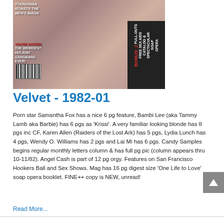[Figure (photo): Magazine cover of Velvet January 1982 showing a couple embracing. Cover text includes 'YOUNGMAN ROASTS THE MEN'S MAGS', 'YOU'RE INVITED: THE WEIRDEST HOLIDAY GANGBANG EVER!', 'BONUS: 2 PULL-OUTS FREE SEX AIDS CATALOG & SPECTACULAR SOAP OPERA', and a barcode.]
Velvet - 1982-01
Porn star Samantha Fox has a nice 6 pg feature, Bambi Lee (aka Tammy Lamb aka Barbie) has 6 pgs as 'Krissi'. A very familiar looking blonde has 8 pgs inc CF, Karen Allen (Raiders of the Lost Ark) has 5 pgs, Lydia Lunch has 4 pgs, Wendy O. Williams has 2 pgs and Lai Mi has 6 pgs. Candy Samples begins regular monthly letters column & has full pg pic (column appears thru 10-11/82). Angel Cash is part of 12 pg orgy. Features on San Francisco Hookers Ball and Sex Shows. Mag has 16 pg digest size 'One Life to Love' soap opera booklet. FINE++ copy is NEW, unread!
Read More...